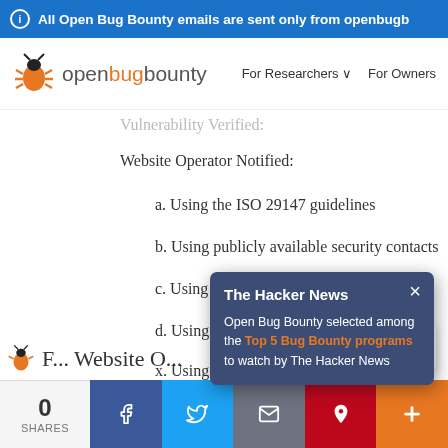All Open Bug Bounty emails are sent only from openbugb...
[Figure (screenshot): Open Bug Bounty logo with orange bug icon and navigation links: For Researchers, For Owners]
Vulnerability Verified:
Website Operator Notified:
a. Using the ISO 29147 guidelines
b. Using publicly available security contacts
c. Using Open Bug Bounty ...
d. Using security contacts...
x. Using Twitter notificatio...
Public Report Published [wit...
[Figure (screenshot): Popup notification: The Hacker News - Open Bug Bounty selected among the Top 5 Bug Bounty programs to watch by The Hacker News]
Public Disclosure:
0 SHARES | Facebook | Twitter | Email | Pinterest | Plus